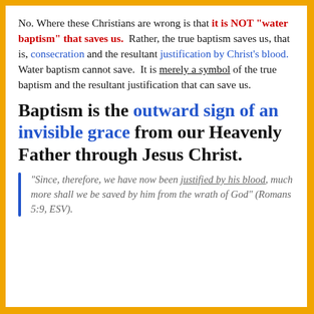No. Where these Christians are wrong is that it is NOT "water baptism" that saves us. Rather, the true baptism saves us, that is, consecration and the resultant justification by Christ's blood. Water baptism cannot save. It is merely a symbol of the true baptism and the resultant justification that can save us.
Baptism is the outward sign of an invisible grace from our Heavenly Father through Jesus Christ.
"Since, therefore, we have now been justified by his blood, much more shall we be saved by him from the wrath of God" (Romans 5:9, ESV).